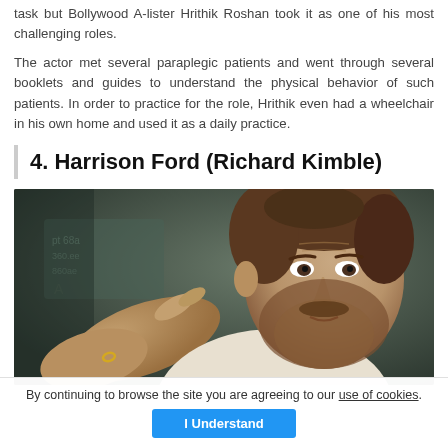task but Bollywood A-lister Hrithik Roshan took it as one of his most challenging roles.
The actor met several paraplegic patients and went through several booklets and guides to understand the physical behavior of such patients. In order to practice for the role, Hrithik even had a wheelchair in his own home and used it as a daily practice.
4. Harrison Ford (Richard Kimble)
[Figure (photo): A bearded man with curly brown hair pointing a finger toward the camera, appearing intense or accusatory, with a blurred background showing some text/signage.]
By continuing to browse the site you are agreeing to our use of cookies.
I Understand